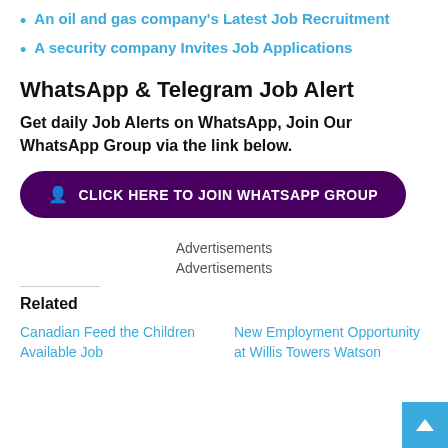An oil and gas company's Latest Job Recruitment
A security company Invites Job Applications
WhatsApp & Telegram Job Alert
Get daily Job Alerts on WhatsApp, Join Our WhatsApp Group via the link below.
CLICK HERE TO JOIN WHATSAPP GROUP
Advertisements
Advertisements
Related
Canadian Feed the Children Available Job
New Employment Opportunity at Willis Towers Watson